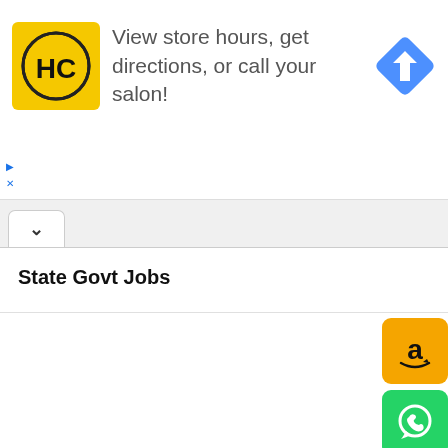[Figure (screenshot): Advertisement banner for HC (Hair Cuttery or similar salon) with yellow logo on left, text 'View store hours, get directions, or call your salon!' in center, and blue diamond navigation icon on right. Small play and close controls at bottom-left.]
[Figure (screenshot): Browser tab bar showing a single open tab with an up-arrow caret icon inside a rounded rectangle tab button.]
State Govt Jobs
[Figure (screenshot): Column of four social/action icon buttons on the right side: orange Amazon button, green WhatsApp button, blue Telegram button, green scroll-up button.]